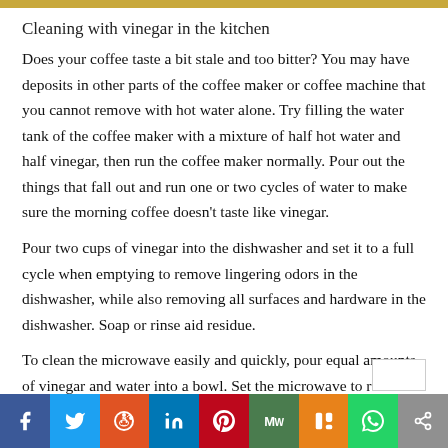Cleaning with vinegar in the kitchen
Does your coffee taste a bit stale and too bitter? You may have deposits in other parts of the coffee maker or coffee machine that you cannot remove with hot water alone. Try filling the water tank of the coffee maker with a mixture of half hot water and half vinegar, then run the coffee maker normally. Pour out the things that fall out and run one or two cycles of water to make sure the morning coffee doesn’t taste like vinegar.
Pour two cups of vinegar into the dishwasher and set it to a full cycle when emptying to remove lingering odors in the dishwasher, while also removing all surfaces and hardware in the dishwasher. Soap or rinse aid residue.
To clean the microwave easily and quickly, pour equal amounts of vinegar and water into a bowl. Set the microwave to run for 10 minutes. Once done, anything stuck to the wall or base of the microwave will soften and the food
[Figure (infographic): Social media share buttons bar: Facebook (blue), Twitter (light blue), Reddit (orange-red), LinkedIn (dark blue), Pinterest (red), MeWe (dark green), Mix (orange), WhatsApp (green), Share (grey)]